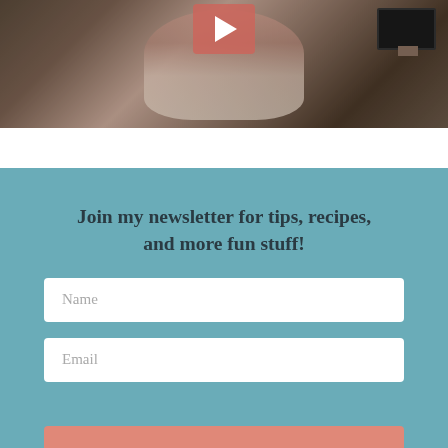[Figure (photo): Video thumbnail showing a woman holding a small dog in a living room setting, with a play button overlay in the upper center area. A TV and furniture visible in background.]
Join my newsletter for tips, recipes, and more fun stuff!
Name
Email